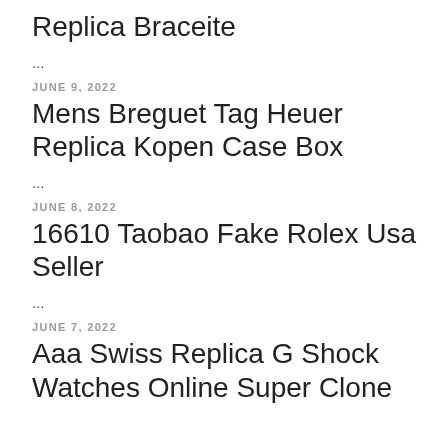Replica Braceite
...
JUNE 9, 2022
Mens Breguet Tag Heuer Replica Kopen Case Box
...
JUNE 8, 2022
16610 Taobao Fake Rolex Usa Seller
...
JUNE 7, 2022
Aaa Swiss Replica G Shock Watches Online Super Clone